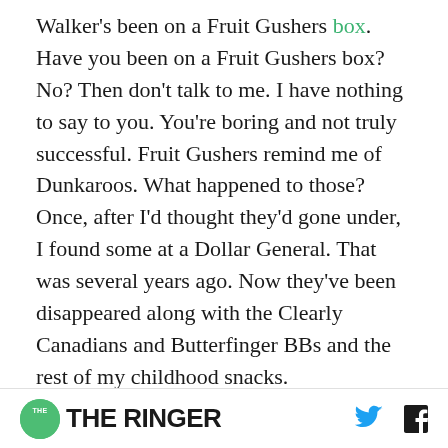Walker's been on a Fruit Gushers box. Have you been on a Fruit Gushers box? No? Then don't talk to me. I have nothing to say to you. You're boring and not truly successful. Fruit Gushers remind me of Dunkaroos. What happened to those? Once, after I'd thought they'd gone under, I found some at a Dollar General. That was several years ago. Now they've been disappeared along with the Clearly Canadians and Butterfinger BBs and the rest of my childhood snacks.
You can call him Kardiac Kemba. An 8 is just an
THE RINGER